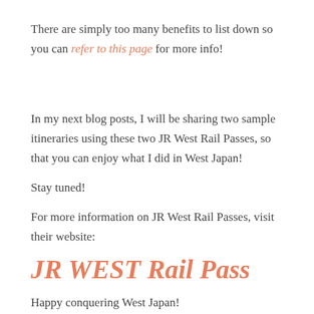There are simply too many benefits to list down so you can refer to this page for more info!
In my next blog posts, I will be sharing two sample itineraries using these two JR West Rail Passes, so that you can enjoy what I did in West Japan!
Stay tuned!
For more information on JR West Rail Passes, visit their website:
JR WEST Rail Pass
Happy conquering West Japan!